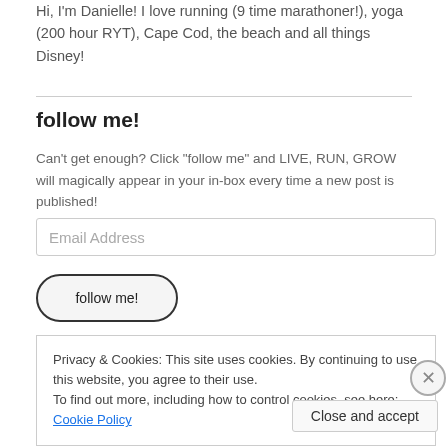Hi, I'm Danielle! I love running (9 time marathoner!), yoga (200 hour RYT), Cape Cod, the beach and all things Disney!
follow me!
Can't get enough? Click "follow me" and LIVE, RUN, GROW will magically appear in your in-box every time a new post is published!
Email Address
follow me!
Privacy & Cookies: This site uses cookies. By continuing to use this website, you agree to their use.
To find out more, including how to control cookies, see here: Cookie Policy
Close and accept